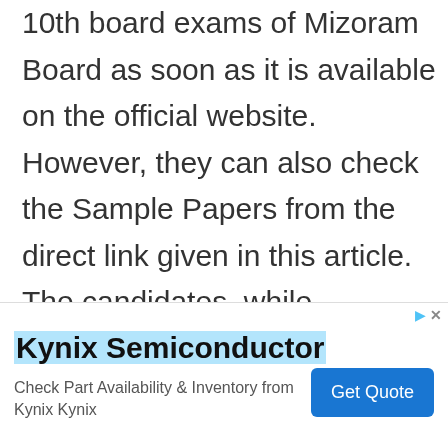10th board exams of Mizoram Board as soon as it is available on the official website. However, they can also check the Sample Papers from the direct link given in this article. The candidates, while downloading the Question Paper of Mizoram Board must follow the specified procedure that has been mentioned below,
[Figure (screenshot): Advertisement banner for Kynix Semiconductor with 'Get Quote' button, close button (X), and ad icon row at top right.]